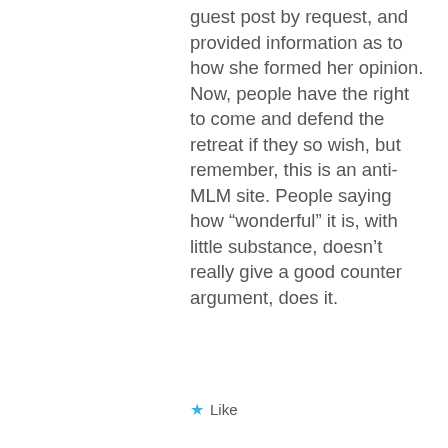guest post by request, and provided information as to how she formed her opinion. Now, people have the right to come and defend the retreat if they so wish, but remember, this is an anti-MLM site. People saying how “wonderful” it is, with little substance, doesn’t really give a good counter argument, does it.
Like